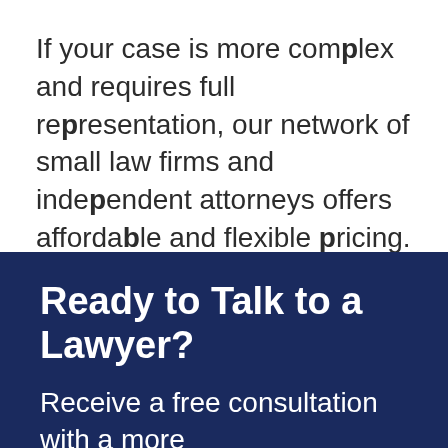If your case is more complex and requires full representation, our network of small law firms and independent attorneys offers affordable and flexible pricing. We can connect you today with a local unbundled lawyer for a free consultation.
Ready to Talk to a Lawyer?
Receive a free consultation with a more